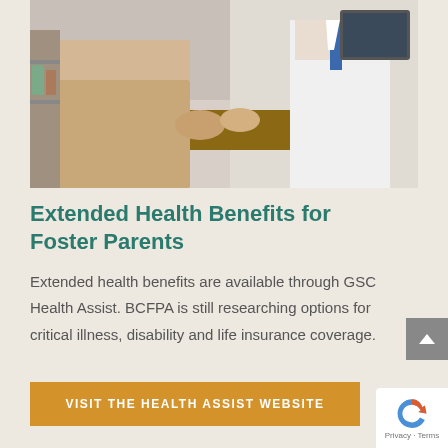[Figure (photo): A patient and a doctor sitting across a desk in a medical office, appearing to consult. The patient is wearing a beige knit sweater and the doctor is in a white coat.]
Extended Health Benefits for Foster Parents
Extended health benefits are available through GSC Health Assist. BCFPA is still researching options for critical illness, disability and life insurance coverage.
VISIT THE HEALTH ASSIST WEBSITE